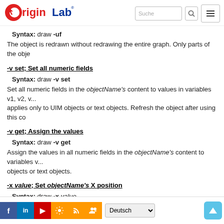OriginLab [logo] Suche [search]
Syntax: draw -uf
The object is redrawn without redrawing the entire graph. Only parts of the obje...
-v set; Set all numeric fields
Syntax: draw -v set
Set all numeric fields in the objectName's content to values in variables v1, v2, v... applies only to UIM objects or text objects. Refresh the object after using this co...
-v get; Assign the values
Syntax: draw -v get
Assign the values in all numeric fields in the objectName's content to variables v... objects or text objects.
-x value; Set objectName's X position
Syntax: draw -x value
Set objectName's X position to the specified value in the current X axis scale. Yo...
Social icons | Deutsch | Scroll up